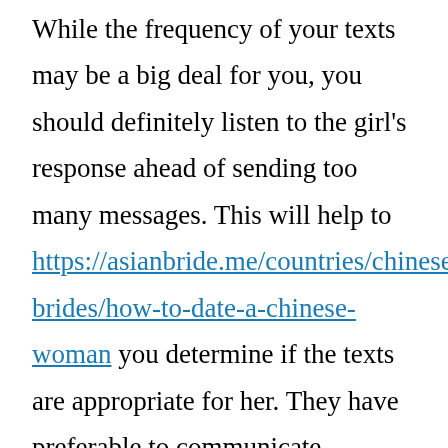While the frequency of your texts may be a big deal for you, you should definitely listen to the girl's response ahead of sending too many messages. This will help to https://asianbride.me/countries/chinese-brides/how-to-date-a-chinese-woman you determine if the texts are appropriate for her. They have preferable to communicate honestly with her, but you may want to bother her through the use of text messaging as a way to impress her. This can be a enormous turn off.